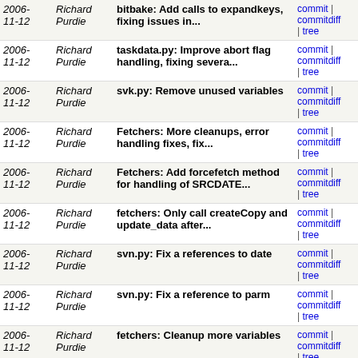| Date | Author | Message | Links |
| --- | --- | --- | --- |
| 2006-11-12 | Richard Purdie | bitbake: Add calls to expandkeys, fixing issues in... | commit | commitdiff | tree |
| 2006-11-12 | Richard Purdie | taskdata.py: Improve abort flag handling, fixing severa... | commit | commitdiff | tree |
| 2006-11-12 | Richard Purdie | svk.py: Remove unused variables | commit | commitdiff | tree |
| 2006-11-12 | Richard Purdie | Fetchers: More cleanups, error handling fixes, fix... | commit | commitdiff | tree |
| 2006-11-12 | Richard Purdie | Fetchers: Add forcefetch method for handling of SRCDATE... | commit | commitdiff | tree |
| 2006-11-12 | Richard Purdie | fetchers: Only call createCopy and update_data after... | commit | commitdiff | tree |
| 2006-11-12 | Richard Purdie | svn.py: Fix a references to date | commit | commitdiff | tree |
| 2006-11-12 | Richard Purdie | svn.py: Fix a reference to parm | commit | commitdiff | tree |
| 2006-11-12 | Richard Purdie | fetchers: Cleanup more variables | commit | commitdiff | tree |
| 2006-11-12 | Richard Purdie | fetchers: Remove check_for_tarball() in favour of try_m... | commit | commitdiff | tree |
| 2006-11-12 | Richard Purdie | fetchers: Create a urldata object which is passed betwe... | commit | commitdiff | tree |
| 2006-11-12 | Richard Purdie | fetchers: Refactor interating through urls into the... | commit | commitdiff | tree |
| 2006-11-11 | Richard Purdie | Add ssh fetcher written by kergoth (from poky) | commit | commitdiff | tree |
| 2006- | Richard Purdie | data.py: Fix emit_env() to expand | commit | commitdiff | tree |